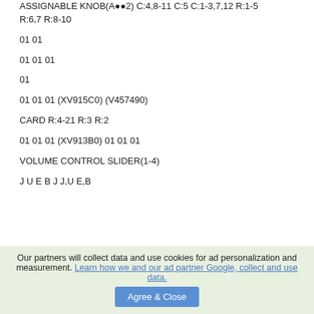ASSIGNABLE KNOB(A●●2) C:4,8-11 C:5 C:1-3,7,12 R:1-5 R:6,7 R:8-10
01 01
01 01 01
01
01 01 01 (XV915C0) (V457490)
CARD R:4-21 R:3 R:2
01 01 01 (XV913B0) 01 01 01
VOLUME CONTROL SLIDER(1-4)
J U E B J J,U E,B
Our partners will collect data and use cookies for ad personalization and measurement. Learn how we and our ad partner Google, collect and use data.
Agree & Close